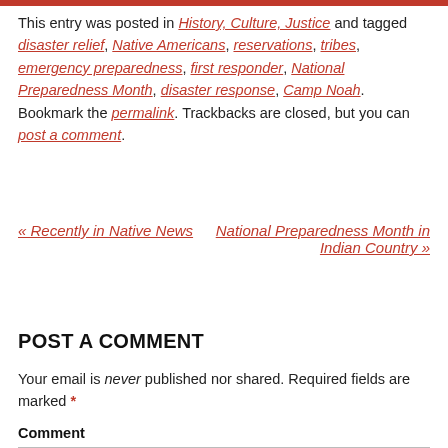This entry was posted in History, Culture, Justice and tagged disaster relief, Native Americans, reservations, tribes, emergency preparedness, first responder, National Preparedness Month, disaster response, Camp Noah. Bookmark the permalink. Trackbacks are closed, but you can post a comment.
« Recently in Native News    National Preparedness Month in Indian Country »
POST A COMMENT
Your email is never published nor shared. Required fields are marked *
Comment